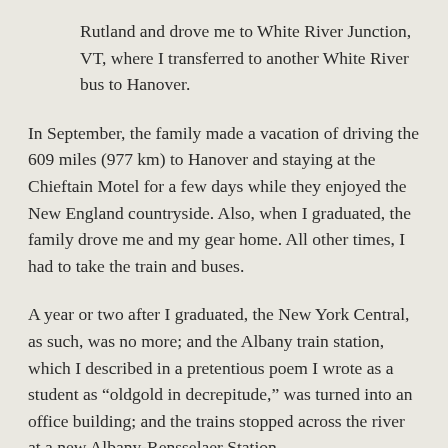Rutland and drove me to White River Junction, VT, where I transferred to another White River bus to Hanover.
In September, the family made a vacation of driving the 609 miles (977 km) to Hanover and staying at the Chieftain Motel for a few days while they enjoyed the New England countryside. Also, when I graduated, the family drove me and my gear home. All other times, I had to take the train and buses.
A year or two after I graduated, the New York Central, as such, was no more; and the Albany train station, which I described in a pretentious poem I wrote as a student as “oldgold in decrepitude,” was turned into an office building; and the trains stopped across the river at a new Albany-Rensselaer Station.
Typically, I was the only Dartmouth student to take the